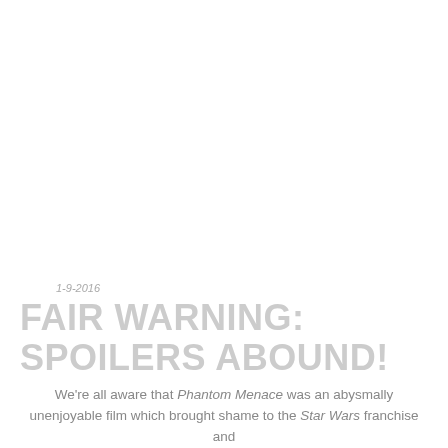1-9-2016
FAIR WARNING: SPOILERS ABOUND!
We're all aware that Phantom Menace was an abysmally unenjoyable film which brought shame to the Star Wars franchise and